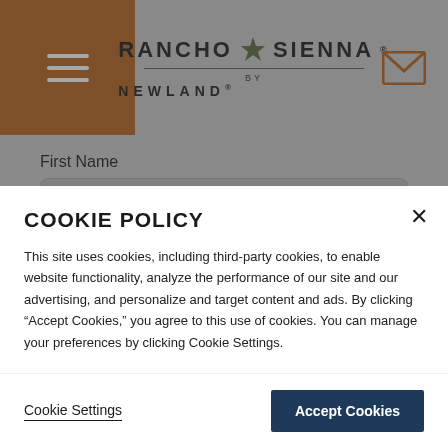[Figure (logo): Rancho Sienna by Newland logo with star icon in header]
First Name
Last Name
COOKIE POLICY
This site uses cookies, including third-party cookies, to enable website functionality, analyze the performance of our site and our advertising, and personalize and target content and ads. By clicking “Accept Cookies,” you agree to this use of cookies. You can manage your preferences by clicking Cookie Settings.
Cookie Settings
Accept Cookies